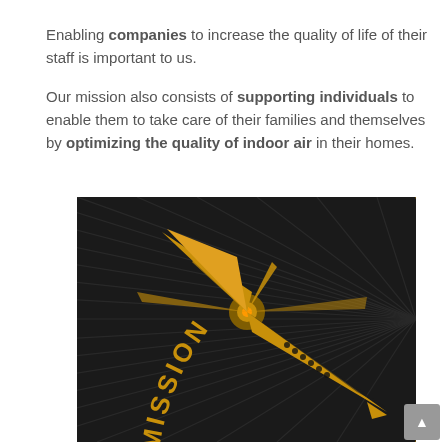Enabling companies to increase the quality of life of their staff is important to us.
Our mission also consists of supporting individuals to enable them to take care of their families and themselves by optimizing the quality of indoor air in their homes.
[Figure (photo): Close-up photograph of a black compass dial with gold/yellow needle pointing downward-right, with the word MISSION written in gold along the curved outer edge of the compass. The background is dark with radial stripe texture.]